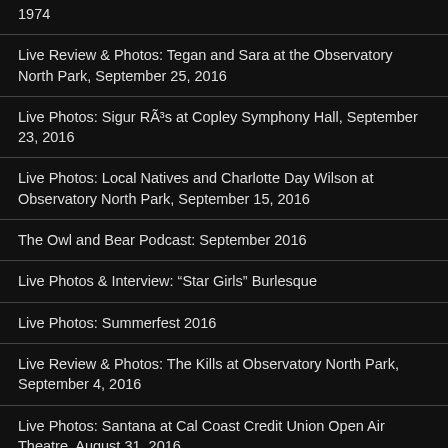1974
Live Review & Photos: Tegan and Sara at the Observatory North Park, September 25, 2016
Live Photos: Sigur RÃ³s at Copley Symphony Hall, September 23, 2016
Live Photos: Local Natives and Charlotte Day Wilson at Observatory North Park, September 15, 2016
The Owl and Bear Podcast: September 2016
Live Photos & Interview: “Star Girls” Burlesque
Live Photos: Summerfest 2016
Live Review & Photos: The Kills at Observatory North Park, September 4, 2016
Live Photos: Santana at Cal Coast Credit Union Open Air Theatre, August 31, 2016
Live Review: The Black Heart Procession at the Casbah, August 24, 2016